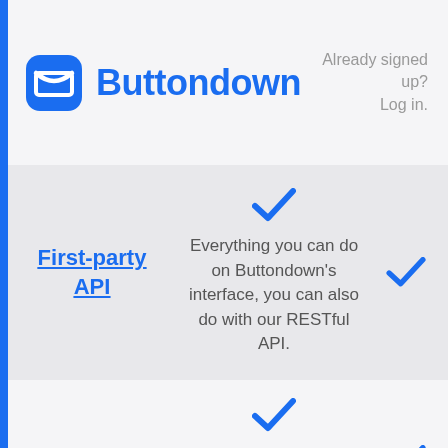Buttondown — Already signed up? Log in.
First-party API
Everything you can do on Buttondown's interface, you can also do with our RESTful API.
Third-party integrations
Setting up your Buttondown account to work with Zapier, IFTTT,